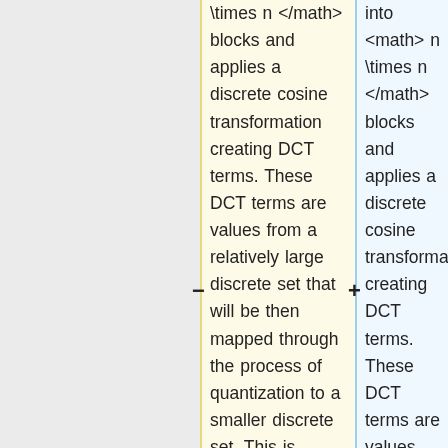\times n </math> blocks and applies a discrete cosine transformation creating DCT terms. These DCT terms are values from a relatively large discrete set that will be then mapped through the process of quantization to a smaller discrete set. This is accomplished with a quantization table at the quantizer block, which is
into <math> n \times n </math> blocks and applies a discrete cosine transformation creating DCT terms. These DCT terms are values from a relatively large discrete set that will be then mapped through the process of quantization to a smaller discrete set. This is accomplished with a quantization table at the quantizer block